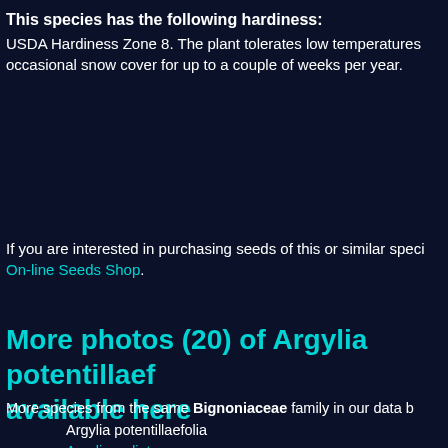This species has the following hardiness: USDA Hardiness Zone 8. The plant tolerates low temperatures occasional snow cover for up to a couple of weeks per year.
If you are interested in purchasing seeds of this or similar speci On-line Seeds Shop.
More photos (20) of Argylia potentillaef available here
More species from the same Bignoniaceae family in our data b
Argylia potentillaefolia
Argylia radiata
Argylia radiata